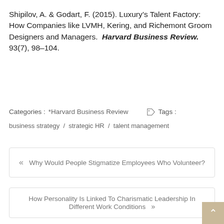Shipilov, A. & Godart, F. (2015). Luxury’s Talent Factory: How Companies like LVMH, Kering, and Richemont Groom Designers and Managers. Harvard Business Review. 93(7), 98–104.
Categories : *Harvard Business Review   Tags : business strategy / strategic HR / talent management
«  Why Would People Stigmatize Employees Who Volunteer?
How Personality Is Linked To Charismatic Leadership In Different Work Conditions  »